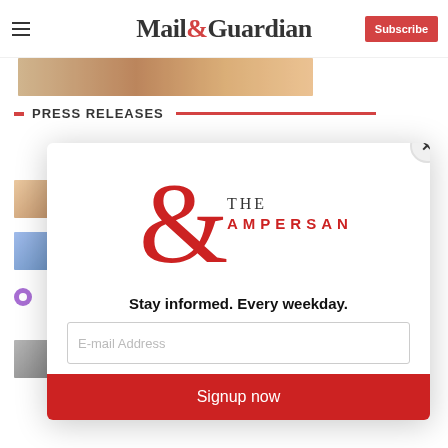Mail&Guardian — Subscribe
[Figure (photo): Top image strip — partial photo visible at top of page]
PRESS RELEASES
[Figure (screenshot): Mail & Guardian website page showing press releases section behind a modal popup overlay]
[Figure (logo): The Ampersand newsletter logo — large red ampersand with 'THE AMPERSAND' text]
Stay informed. Every weekday.
E-mail Address
Signup now